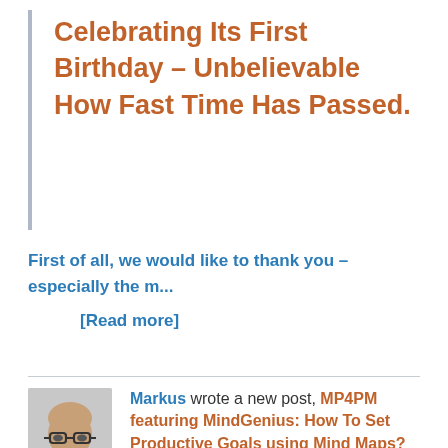Celebrating Its First Birthday – Unbelievable How Fast Time Has Passed.
First of all, we would like to thank you – especially the m...
[Read more]
[Figure (photo): Portrait photo of a bald man with glasses wearing a dark shirt]
Markus wrote a new post, MP4PM featuring MindGenius: How To Set Productive Goals using Mind Maps?
2 years ago